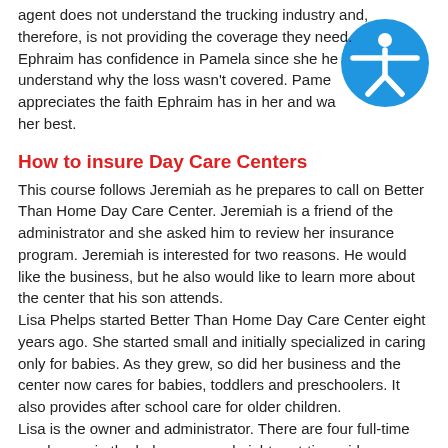agent does not understand the trucking industry and, therefore, is not providing the coverage they need. Ephraim has confidence in Pamela since she helped understand why the loss wasn't covered. Pamela appreciates the faith Ephraim has in her and wants to do her best.
[Figure (illustration): Blue circular accessibility icon with a white human figure with outstretched arms]
How to insure Day Care Centers
This course follows Jeremiah as he prepares to call on Better Than Home Day Care Center. Jeremiah is a friend of the administrator and she asked him to review her insurance program. Jeremiah is interested for two reasons. He would like the business, but he also would like to learn more about the center that his son attends.
Lisa Phelps started Better Than Home Day Care Center eight years ago. She started small and initially specialized in caring only for babies. As they grew, so did her business and the center now cares for babies, toddlers and preschoolers. It also provides after school care for older children.
Lisa is the owner and administrator. There are four full-time employees in the baby room and eight part-time aids